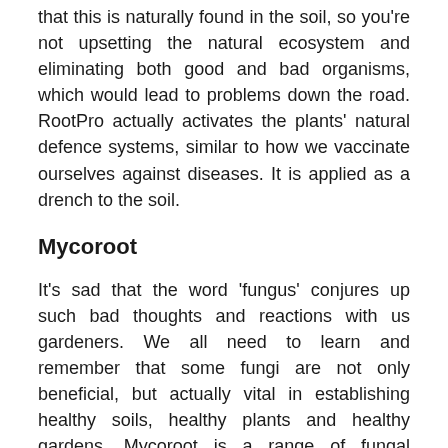that this is naturally found in the soil, so you're not upsetting the natural ecosystem and eliminating both good and bad organisms, which would lead to problems down the road. RootPro actually activates the plants' natural defence systems, similar to how we vaccinate ourselves against diseases. It is applied as a drench to the soil.
Mycoroot
It's sad that the word 'fungus' conjures up such bad thoughts and reactions with us gardeners. We all need to learn and remember that some fungi are not only beneficial, but actually vital in establishing healthy soils, healthy plants and healthy gardens. Mycoroot is a range of fungal inoculation for the soil tailored for different applications (home garden; trees and shrubs; lawns and turf; field crops). The products use African mycorrhizal fungal microorganisms that naturally occur in our soil (unless we've killed them using fungicides or through poor soil management) and which form a symbiotic,